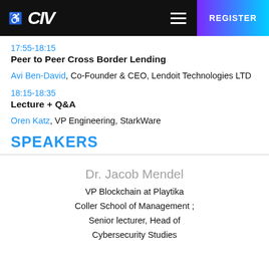CIV | REGISTER
17:55-18:15
Peer to Peer Cross Border Lending
Avi Ben-David, Co-Founder & CEO, Lendoit Technologies LTD
18:15-18:35
Lecture + Q&A
Oren Katz, VP Engineering, StarkWare
SPEAKERS
Dr. Jacob Mendel
VP Blockchain at Playtika
Coller School of Management ;
Senior lecturer, Head of
Cybersecurity Studies